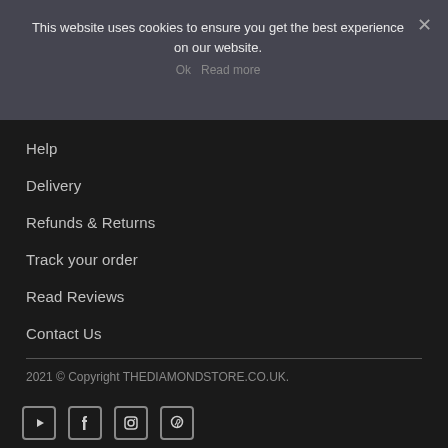This website uses cookies to ensure you get the best experience on our website.
Ok   Read more
Help
Delivery
Refunds & Returns
Track your order
Read Reviews
Contact Us
2021 © Copyright THEDIAMONDSTORE.CO.UK.